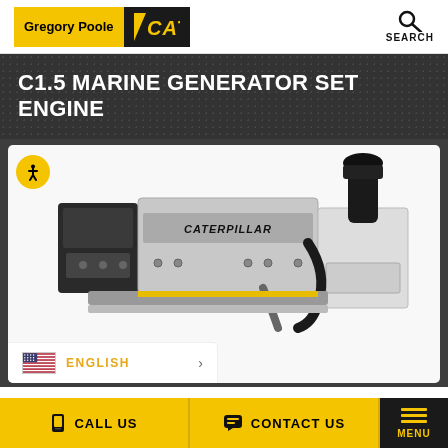[Figure (logo): Gregory Poole CAT logo in header]
[Figure (logo): Search icon with SEARCH label in top right]
C1.5 MARINE GENERATOR SET ENGINE
[Figure (photo): Caterpillar C1.5 marine generator set engine, white and black industrial engine unit on white background, with CATERPILLAR branding visible]
ENGLISH
CALL US   CONTACT US   MENU